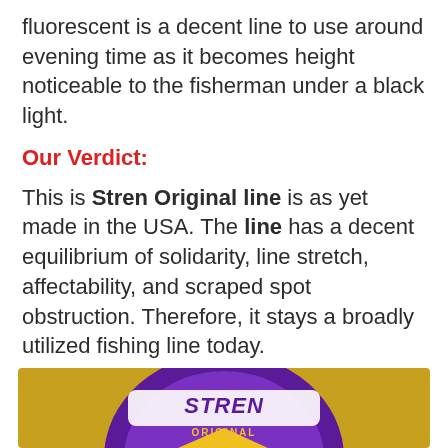fluorescent is a decent line to use around evening time as it becomes height noticeable to the fisherman under a black light.
Our Verdict:
This is Stren Original line is as yet made in the USA. The line has a decent equilibrium of solidarity, line stretch, affectability, and scraped spot obstruction. Therefore, it stays a broadly utilized fishing line today.
[Figure (photo): Partial photo of a Stren Original fishing line spool/package showing the Stren logo and 'Original' text on a purple and yellow package against a golden background.]